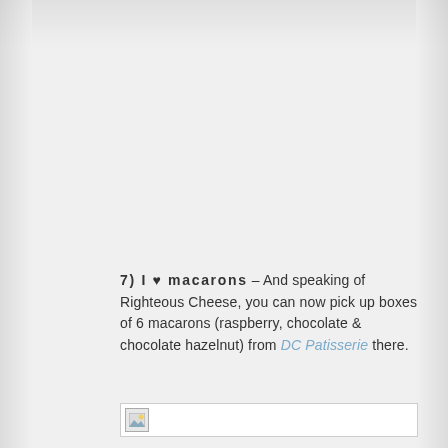7) I ♥ macarons – And speaking of Righteous Cheese, you can now pick up boxes of 6 macarons (raspberry, chocolate & chocolate hazelnut) from DC Patisserie there.
[Figure (photo): Partially visible image placeholder with broken image icon at bottom of content area]